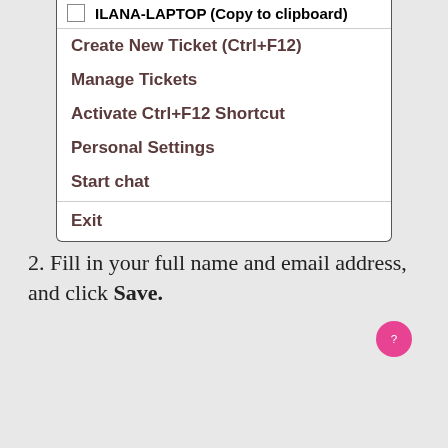[Figure (screenshot): Context menu showing options: Create New Ticket (Ctrl+F12), Manage Tickets, Activate Ctrl+F12 Shortcut, Personal Settings, Start chat, Exit]
2. Fill in your full name and email address, and click Save.
[Figure (screenshot): Personal Info Settings dialog box with text: In order to start chat with your helpdesk provider You must enter basic information about yourself]